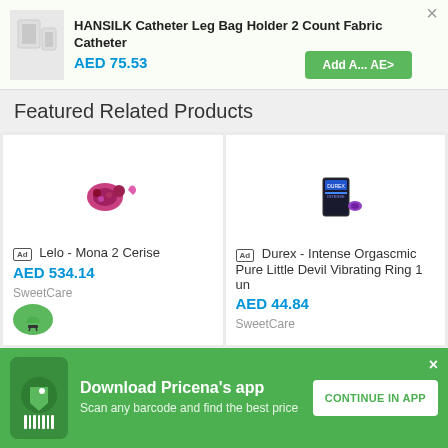HANSILK Catheter Leg Bag Holder 2 Count Fabric Catheter AED 75.53
Featured Related Products
[Figure (screenshot): Product image for Lelo - Mona 2 Cerise (small product photo with pink/magenta color)]
Ad  Lelo - Mona 2 Cerise
AED 534.14
SweetCare
[Figure (screenshot): Product image for Durex - Intense Orgascmic Pure Little Devil Vibrating Ring (small product box photo)]
Ad  Durex - Intense Orgascmic Pure Little Devil Vibrating Ring 1 un
AED 44.84
SweetCare
Download Pricena's app  Scan any barcode and find the best price  CONTINUE IN APP